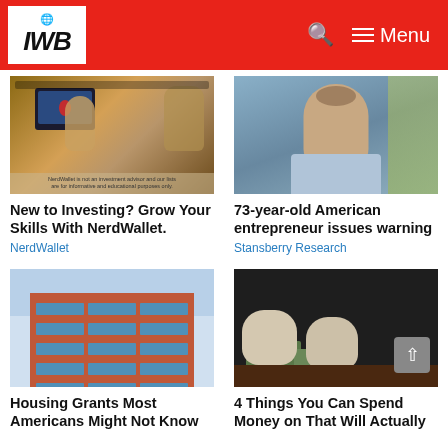IWB — Navigation header with search and menu
[Figure (photo): Two people working at a computer with a monitor, lamp lighting the scene. Text overlay: NerdWallet is not an investment advisor and our lists are for informative and educational purposes only.]
New to Investing? Grow Your Skills With NerdWallet.
NerdWallet
[Figure (photo): 73-year-old American entrepreneur, older man in light blue shirt, outdoor background with yellow/green elements.]
73-year-old American entrepreneur issues warning
Stansberry Research
[Figure (photo): Modern apartment building exterior, red brick with blue glass windows, low angle shot against blue sky.]
Housing Grants Most Americans Might Not Know
[Figure (photo): Two bags of bundled cash/money on a dark table, bundles of dollar bills wrapped in white packaging.]
4 Things You Can Spend Money on That Will Actually